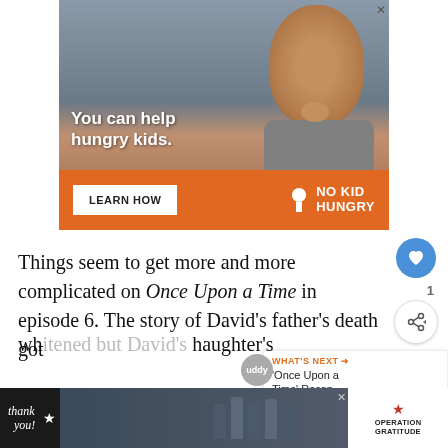[Figure (photo): Advertisement banner showing a young child eating with text 'You can help hungry kids.' and an orange bar with 'LEARN HOW' button and 'NO KID HUNGRY' logo]
Things seem to get more and more complicated on Once Upon a Time in episode 6. The story of David's father's death got
[Figure (screenshot): Small overlay showing 'WHAT'S NEXT' label and 'Once Upon a Time' Recap... text with buddy avatar]
[Figure (photo): Bottom advertisement banner with 'Thank you!' handwritten text, photo of firefighters, and Operation Gratitude logo]